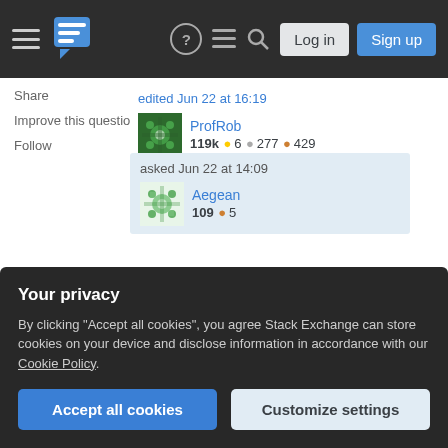Stack Exchange navigation bar with Log in and Sign up buttons
Share
Improve this question
Follow
edited Jun 22 at 16:19 ProfRob 119k ● 6 ● 277 ● 429
asked Jun 22 at 14:09 Aegean 109 ● 5
I don't think there is an absolute limit to the mass of a star. It also depends on metallicity. PopIII could have had even 1000 solar masses (e.g. see Hirano et al.
Add a comment
Your privacy
By clicking "Accept all cookies", you agree Stack Exchange can store cookies on your device and disclose information in accordance with our Cookie Policy.
Accept all cookies
Customize settings